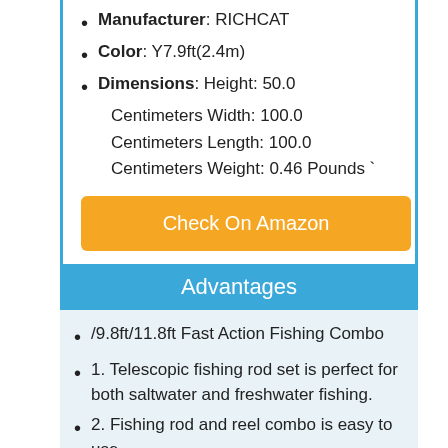Manufacturer: RICHCAT
Color: Y7.9ft(2.4m)
Dimensions: Height: 50.0 Centimeters Width: 100.0 Centimeters Length: 100.0 Centimeters Weight: 0.46 Pounds `
Check On Amazon
Advantages
/9.8ft/11.8ft Fast Action Fishing Combo
1. Telescopic fishing rod set is perfect for both saltwater and freshwater fishing.
2. Fishing rod and reel combo is easy to use